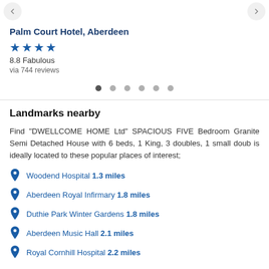Palm Court Hotel, Aberdeen
★★★★
8.8 Fabulous
via 744 reviews
Landmarks nearby
Find "DWELLCOME HOME Ltd" SPACIOUS FIVE Bedroom Granite Semi Detached House with 6 beds, 1 King, 3 doubles, 1 small doub is ideally located to these popular places of interest;
Woodend Hospital 1.3 miles
Aberdeen Royal Infirmary 1.8 miles
Duthie Park Winter Gardens 1.8 miles
Aberdeen Music Hall 2.1 miles
Royal Cornhill Hospital 2.2 miles